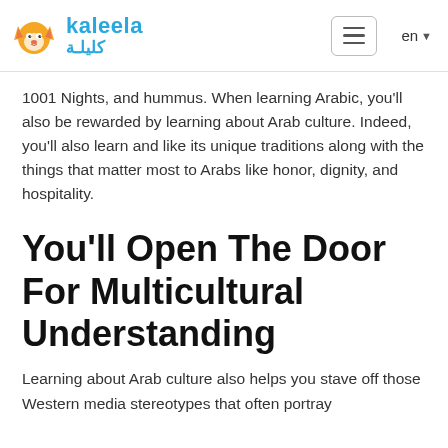kaleela | كليلة
1001 Nights, and hummus. When learning Arabic, you'll also be rewarded by learning about Arab culture. Indeed, you'll also learn and like its unique traditions along with the things that matter most to Arabs like honor, dignity, and hospitality.
You'll Open The Door For Multicultural Understanding
Learning about Arab culture also helps you stave off those Western media stereotypes that often portray